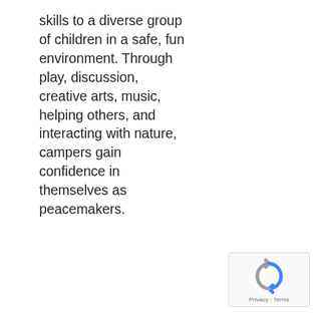skills to a diverse group of children in a safe, fun environment. Through play, discussion, creative arts, music, helping others, and interacting with nature, campers gain confidence in themselves as peacemakers.
[Figure (logo): Google reCAPTCHA widget showing the reCAPTCHA logo (circular arrows icon in blue and grey) with Privacy and Terms links below.]